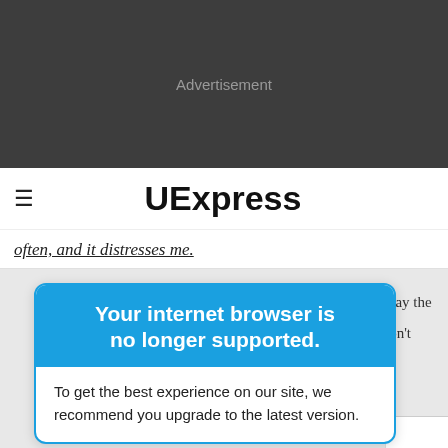[Figure (other): Advertisement banner area with dark gray background]
Advertisement
≡  UExpress
often, and it distresses me.
Your internet browser is no longer supported.
To get the best experience on our site, we recommend you upgrade to the latest version.